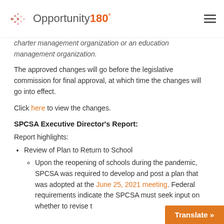Opportunity180°
charter management organization or an education management organization.
The approved changes will go before the legislative commission for final approval, at which time the changes will go into effect.
Click here to view the changes.
SPCSA Executive Director's Report:
Report highlights:
Review of Plan to Return to School
Upon the reopening of schools during the pandemic, SPCSA was required to develop and post a plan that was adopted at the June 25, 2021 meeting. Federal requirements indicate the SPCSA must seek input on whether to revise t…